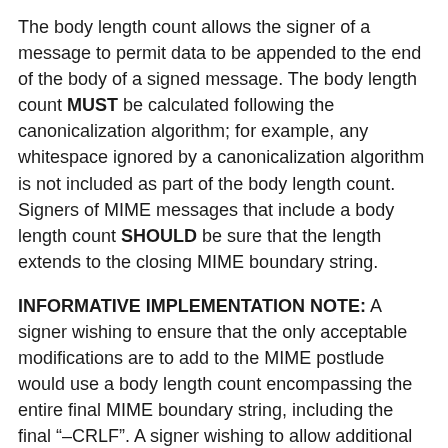The body length count allows the signer of a message to permit data to be appended to the end of the body of a signed message. The body length count MUST be calculated following the canonicalization algorithm; for example, any whitespace ignored by a canonicalization algorithm is not included as part of the body length count. Signers of MIME messages that include a body length count SHOULD be sure that the length extends to the closing MIME boundary string.
INFORMATIVE IMPLEMENTATION NOTE: A signer wishing to ensure that the only acceptable modifications are to add to the MIME postlude would use a body length count encompassing the entire final MIME boundary string, including the final "–CRLF". A signer wishing to allow additional MIME parts but not modification of existing parts would use a body length count extending through the final MIME boundary string, omitting the final "–CRLF". Note that this only works for some MIME types, e.g., multipart/mixed but not multipart/signed.